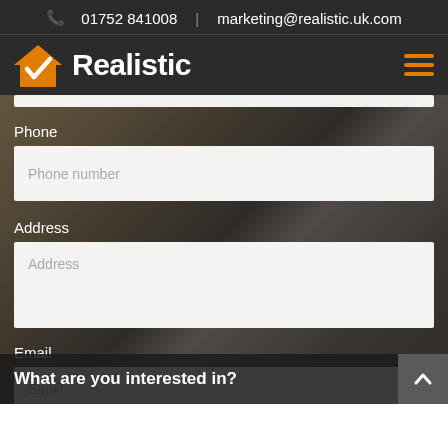01752 841008  |  marketing@realistic.uk.com
[Figure (logo): Realistic brand logo with orange house/checkmark icon and white bold text 'Realistic' on dark background]
Phone
Phone number
Address
Address
Email
Email
What are you interested in?